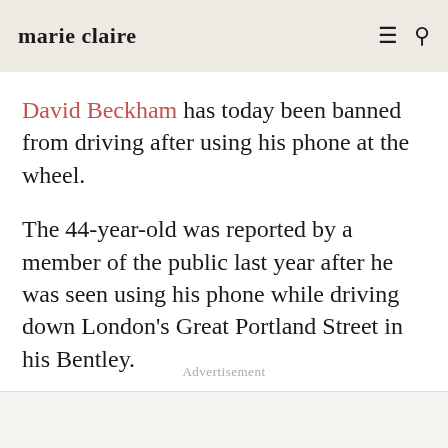marie claire
David Beckham has today been banned from driving after using his phone at the wheel.
The 44-year-old was reported by a member of the public last year after he was seen using his phone while driving down London's Great Portland Street in his Bentley.
Advertisement